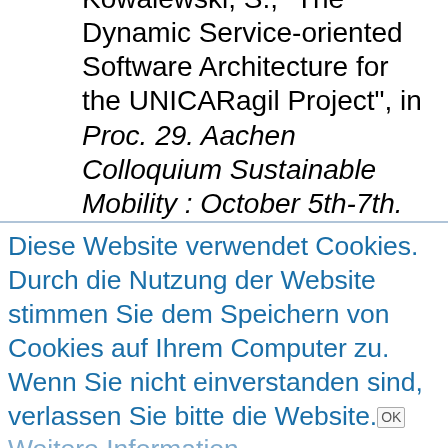Kowalewski, S., "The Dynamic Service-oriented Software Architecture for the UNICARagil Project", in Proc. 29. Aachen Colloquium Sustainable Mobility : October 5th-7th.
Diese Website verwendet Cookies. Durch die Nutzung der Website stimmen Sie dem Speichern von Cookies auf Ihrem Computer zu. Wenn Sie nicht einverstanden sind, verlassen Sie bitte die Website. OK Weitere Information